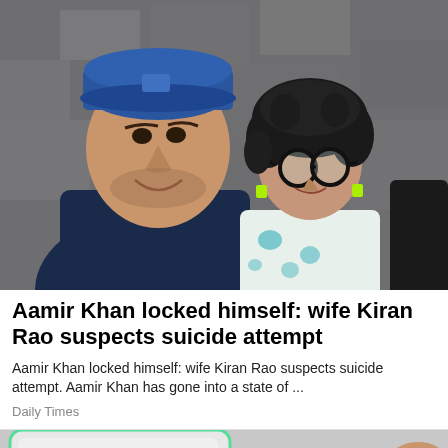[Figure (photo): A man in a blue cap and dark navy t-shirt smiling, standing next to a woman with curly black hair wearing round black glasses and green earrings and a white blue-patterned top, posing in front of a stone/concrete background.]
Aamir Khan locked himself: wife Kiran Rao suspects suicide attempt
Aamir Khan locked himself: wife Kiran Rao suspects suicide attempt. Aamir Khan has gone into a state of ...
Daily Times
[Figure (photo): Partial view of what appears to be a tech device or tablet on a surface, partially cropped at the bottom of the page.]